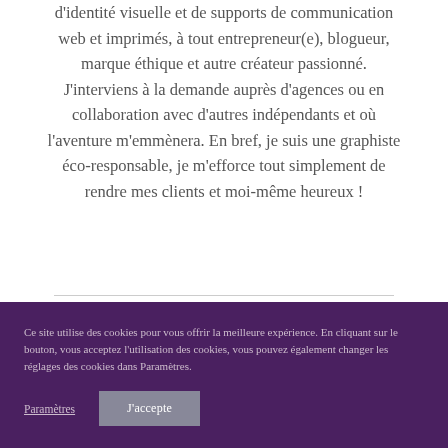d'identité visuelle et de supports de communication web et imprimés, à tout entrepreneur(e), blogueur, marque éthique et autre créateur passionné. J'interviens à la demande auprès d'agences ou en collaboration avec d'autres indépendants et où l'aventure m'emmènera. En bref, je suis une graphiste éco-responsable, je m'efforce tout simplement de rendre mes clients et moi-même heureux !
Ce site utilise des cookies pour vous offrir la meilleure expérience. En cliquant sur le bouton, vous acceptez l'utilisation des cookies, vous pouvez également changer les réglages des cookies dans Paramètres.